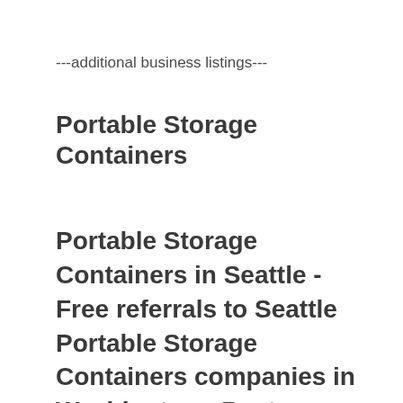---additional business listings---
Portable Storage Containers
Portable Storage Containers in Seattle - Free referrals to Seattle Portable Storage Containers companies in Washington - Best Portable Storage Containers in Seattle